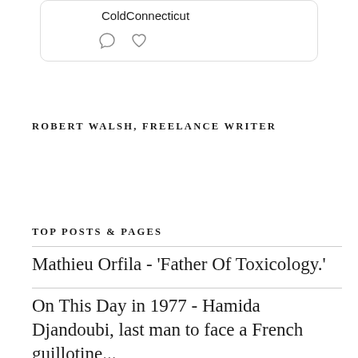[Figure (screenshot): Social media post card showing username 'ColdConnecticut' with comment and heart icons below]
ROBERT WALSH, FREELANCE WRITER
TOP POSTS & PAGES
Mathieu Orfila - 'Father Of Toxicology.'
On This Day in 1977 - Hamida Djandoubi, last man to face a French guillotine...